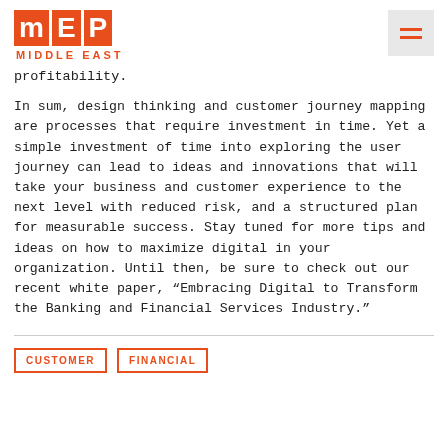MEP MIDDLE EAST
profitability.
In sum, design thinking and customer journey mapping are processes that require investment in time. Yet a simple investment of time into exploring the user journey can lead to ideas and innovations that will take your business and customer experience to the next level with reduced risk, and a structured plan for measurable success. Stay tuned for more tips and ideas on how to maximize digital in your organization. Until then, be sure to check out our recent white paper, “Embracing Digital to Transform the Banking and Financial Services Industry.”
CUSTOMER
FINANCIAL